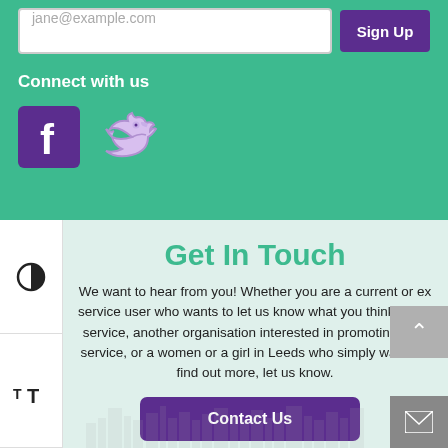jane@example.com
Sign Up
Connect with us
[Figure (logo): Facebook logo icon (purple background with white f)]
[Figure (logo): Twitter bird logo in purple/lavender]
Get In Touch
We want to hear from you! Whether you are a current or ex service user who wants to let us know what you think of the service, another organisation interested in promoting your service, or a women or a girl in Leeds who simply wants to find out more, let us know.
Contact Us